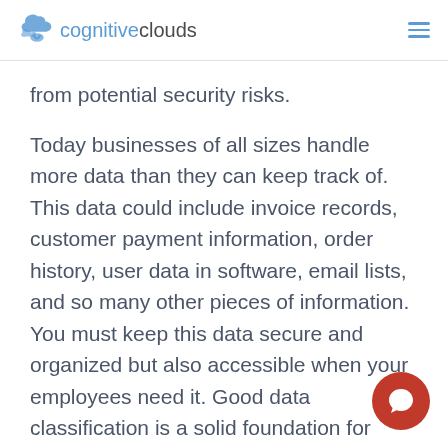cognitiveclouds
from potential security risks.
Today businesses of all sizes handle more data than they can keep track of. This data could include invoice records, customer payment information, order history, user data in software, email lists, and so many other pieces of information. You must keep this data secure and organized but also accessible when your employees need it. Good data classification is a solid foundation for keeping your